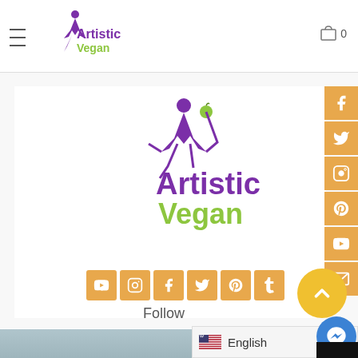Artistic Vegan - header with logo, hamburger menu, cart icon showing 0
[Figure (logo): Artistic Vegan logo - purple yoga figure holding green apple, purple text 'Artistic' and green text 'Vegan' - large centered version]
[Figure (infographic): Row of 6 social media icon buttons (YouTube, Instagram, Facebook, Twitter, Pinterest, Tumblr) in orange/gold squares]
Follow
[Figure (screenshot): Bottom strip showing partial landscape/seascape image and language selector showing English with US flag]